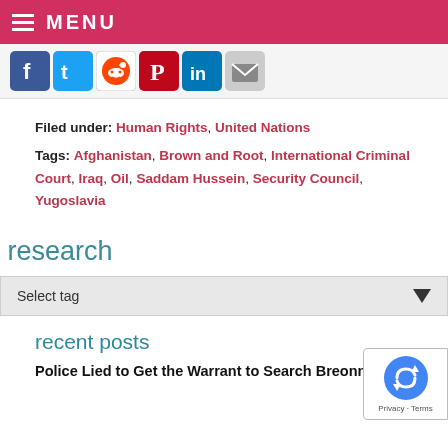MENU
[Figure (screenshot): Social media share icons: Facebook, Twitter, Reddit, Pinterest, LinkedIn, Email]
Filed under: Human Rights, United Nations
Tags: Afghanistan, Brown and Root, International Criminal Court, Iraq, Oil, Saddam Hussein, Security Council, Yugoslavia
research
Select tag
recent posts
Police Lied to Get the Warrant to Search Breonna...